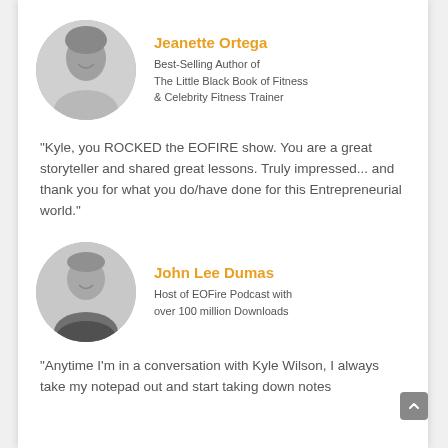[Figure (photo): Black and white circular headshot photo of Jeanette Ortega, a woman smiling]
Jeanette Ortega
Best-Selling Author of The Little Black Book of Fitness & Celebrity Fitness Trainer
"Kyle, you ROCKED the EOFIRE show. You are a great storyteller and shared great lessons. Truly impressed... and thank you for what you do/have done for this Entrepreneurial world."
[Figure (photo): Black and white circular headshot photo of John Lee Dumas, a man smiling]
John Lee Dumas
Host of EOFire Podcast with over 100 million Downloads
"Anytime I'm in a conversation with Kyle Wilson, I always take my notepad out and start taking down notes